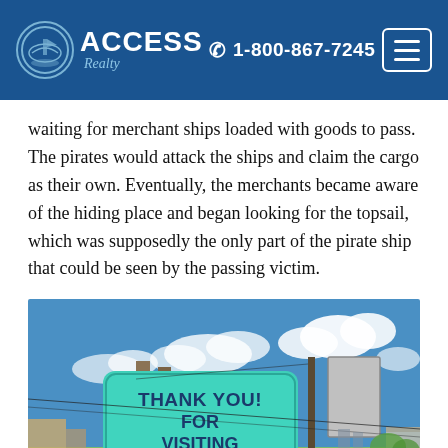ACCESS Realty | 1-800-867-7245
waiting for merchant ships loaded with goods to pass. The pirates would attack the ships and claim the cargo as their own. Eventually, the merchants became aware of the hiding place and began looking for the topsail, which was supposedly the only part of the pirate ship that could be seen by the passing victim.
[Figure (photo): Outdoor sign reading 'Thank You For Visiting' for the Town of Topsail Beach, North Carolina, mounted on wooden posts with blue sky and clouds in background.]